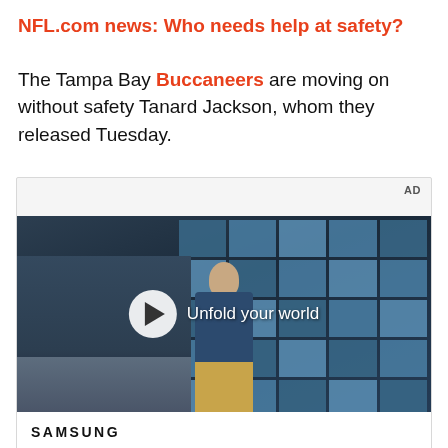NFL.com news: Who needs help at safety?
The Tampa Bay Buccaneers are moving on without safety Tanard Jackson, whom they released Tuesday.
[Figure (screenshot): Advertisement banner featuring a Samsung video ad. Shows 'AD' label in top right. Video still of a young man in a blue denim jacket and khaki pants standing in front of a blue tiled window wall, with a cafe visible on the left. A play button overlay is centered with text 'Unfold your world'. Below the video is the Samsung logo and text 'Bring all your devices into the fold'.]